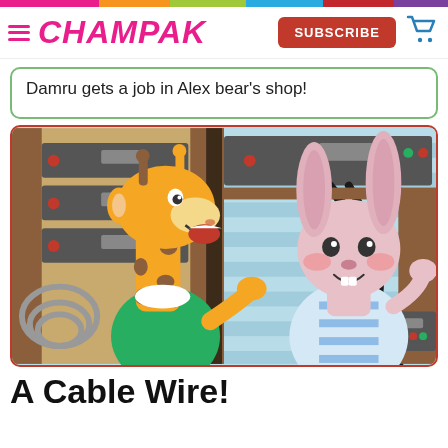CHAMPAK | SUBSCRIBE
Damru gets a job in Alex bear's shop!
[Figure (illustration): Cartoon illustration of a giraffe wearing a green shirt talking to a rabbit/bunny wearing a blue striped apron, inside what appears to be an electronics or repair shop with shelves of equipment in the background.]
A Cable Wire!